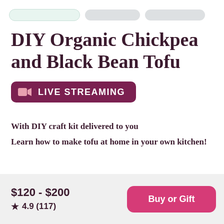[Figure (other): Navigation bar with three pill-shaped tabs: first tab light green outlined, second and third tabs gray]
DIY Organic Chickpea and Black Bean Tofu
LIVE STREAMING (badge with video camera icon)
With DIY craft kit delivered to you
Learn how to make tofu at home in your own kitchen!
$120 - $200
★ 4.9 (117)
Buy or Gift